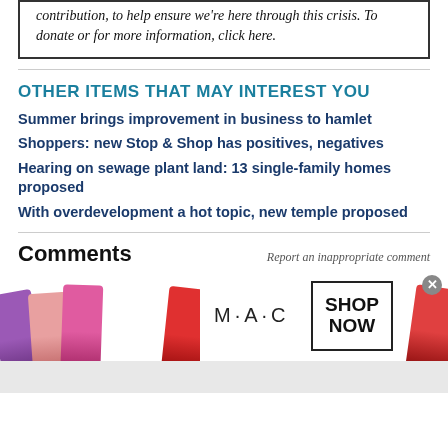contribution, to help ensure we're here through this crisis. To donate or for more information, click here.
OTHER ITEMS THAT MAY INTEREST YOU
Summer brings improvement in business to hamlet
Shoppers: new Stop & Shop has positives, negatives
Hearing on sewage plant land: 13 single-family homes proposed
With overdevelopment a hot topic, new temple proposed
Comments
Report an inappropriate comment
[Figure (photo): MAC cosmetics advertisement showing colorful lipsticks on the left, MAC logo in center, and a SHOP NOW box on the right with a close button.]